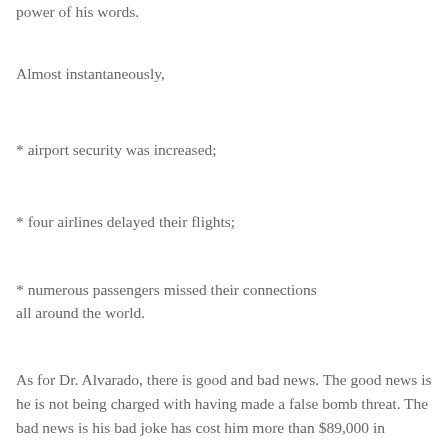power of his words.
Almost instantaneously,
* airport security was increased;
* four airlines delayed their flights;
* numerous passengers missed their connections all around the world.
As for Dr. Alvarado, there is good and bad news. The good news is he is not being charged with having made a false bomb threat. The bad news is his bad joke has cost him more than $89,000 in